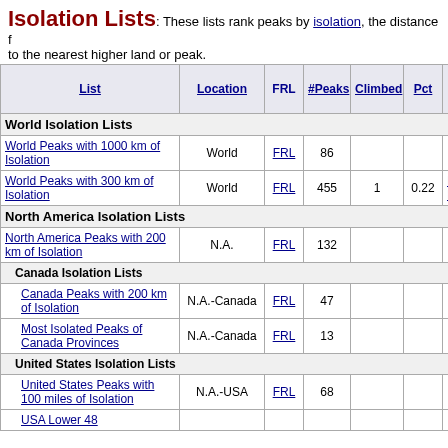Isolation Lists: These lists rank peaks by isolation, the distance to the nearest higher land or peak.
| List | Location | FRL | #Peaks | Climbed | Pct | Most Recent Peak |  |
| --- | --- | --- | --- | --- | --- | --- | --- |
| World Isolation Lists |  |  |  |  |  |  |  |
| World Peaks with 1000 km of Isolation | World | FRL | 86 |  |  |  |  |
| World Peaks with 300 km of Isolation | World | FRL | 455 | 1 | 0.22 | Ben Nevis | 20 09 |
| North America Isolation Lists |  |  |  |  |  |  |  |
| North America Peaks with 200 km of Isolation | N.A. | FRL | 132 |  |  |  |  |
| Canada Isolation Lists |  |  |  |  |  |  |  |
| Canada Peaks with 200 km of Isolation | N.A.-Canada | FRL | 47 |  |  |  |  |
| Most Isolated Peaks of Canada Provinces | N.A.-Canada | FRL | 13 |  |  |  |  |
| United States Isolation Lists |  |  |  |  |  |  |  |
| United States Peaks with 100 miles of Isolation | N.A.-USA | FRL | 68 |  |  |  |  |
| USA Lower 48 |  |  |  |  |  |  |  |